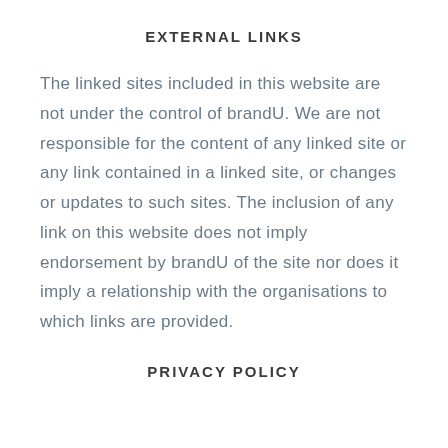EXTERNAL LINKS
The linked sites included in this website are not under the control of brandU. We are not responsible for the content of any linked site or any link contained in a linked site, or changes or updates to such sites. The inclusion of any link on this website does not imply endorsement by brandU of the site nor does it imply a relationship with the organisations to which links are provided.
PRIVACY POLICY